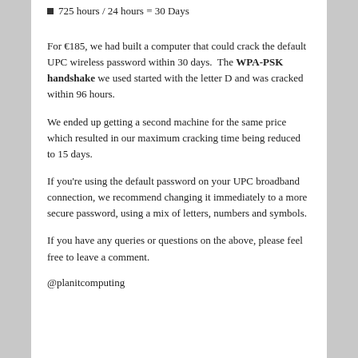725 hours / 24 hours = 30 Days
For €185, we had built a computer that could crack the default UPC wireless password within 30 days.  The WPA-PSK handshake we used started with the letter D and was cracked within 96 hours.
We ended up getting a second machine for the same price which resulted in our maximum cracking time being reduced to 15 days.
If you're using the default password on your UPC broadband connection, we recommend changing it immediately to a more secure password, using a mix of letters, numbers and symbols.
If you have any queries or questions on the above, please feel free to leave a comment.
@planitcomputing